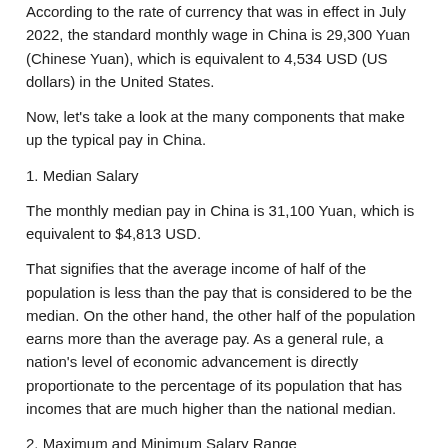According to the rate of currency that was in effect in July 2022, the standard monthly wage in China is 29,300 Yuan (Chinese Yuan), which is equivalent to 4,534 USD (US dollars) in the United States.
Now, let's take a look at the many components that make up the typical pay in China.
1. Median Salary
The monthly median pay in China is 31,100 Yuan, which is equivalent to $4,813 USD.
That signifies that the average income of half of the population is less than the pay that is considered to be the median. On the other hand, the other half of the population earns more than the average pay. As a general rule, a nation's level of economic advancement is directly proportionate to the percentage of its population that has incomes that are much higher than the national median.
2. Maximum and Minimum Salary Range
The lowest possible pay in China is 7,410 Yuan (equivalent to